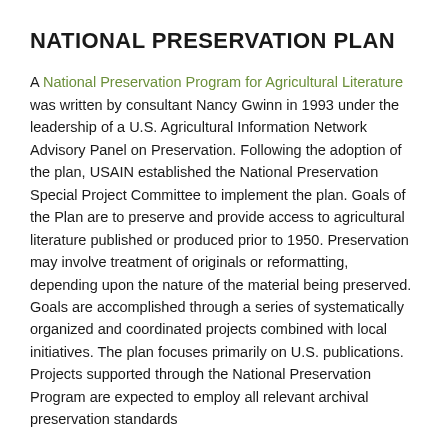NATIONAL PRESERVATION PLAN
A National Preservation Program for Agricultural Literature was written by consultant Nancy Gwinn in 1993 under the leadership of a U.S. Agricultural Information Network Advisory Panel on Preservation. Following the adoption of the plan, USAIN established the National Preservation Special Project Committee to implement the plan. Goals of the Plan are to preserve and provide access to agricultural literature published or produced prior to 1950. Preservation may involve treatment of originals or reformatting, depending upon the nature of the material being preserved. Goals are accomplished through a series of systematically organized and coordinated projects combined with local initiatives. The plan focuses primarily on U.S. publications. Projects supported through the National Preservation Program are expected to employ all relevant archival preservation standards